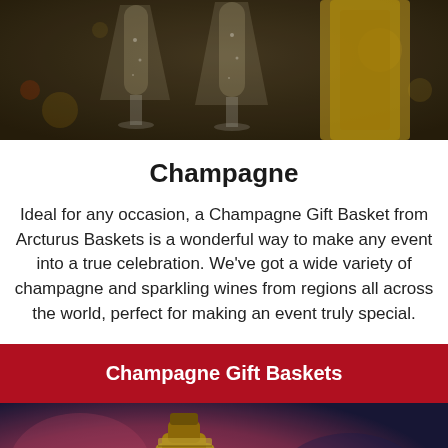[Figure (photo): Two champagne flutes filled with sparkling champagne next to a gold champagne bottle, on a dark background with bokeh lights.]
Champagne
Ideal for any occasion, a Champagne Gift Basket from Arcturus Baskets is a wonderful way to make any event into a true celebration. We've got a wide variety of champagne and sparkling wines from regions all across the world, perfect for making an event truly special.
Champagne Gift Baskets
[Figure (photo): Close-up of a gold champagne bottle top/foil on a blurred red and dark blue background, with a grey chat bubble icon in the lower right.]